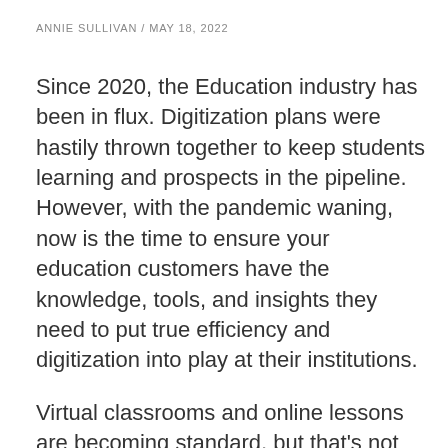ANNIE SULLIVAN / MAY 18, 2022
Since 2020, the Education industry has been in flux. Digitization plans were hastily thrown together to keep students learning and prospects in the pipeline. However, with the pandemic waning, now is the time to ensure your education customers have the knowledge, tools, and insights they need to put true efficiency and digitization into play at their institutions.
Virtual classrooms and online lessons are becoming standard, but that's not enough to keep ahead of the competition. Everything from housing requests, financial aid, student applications, tutoring sign-ups, scheduling, and